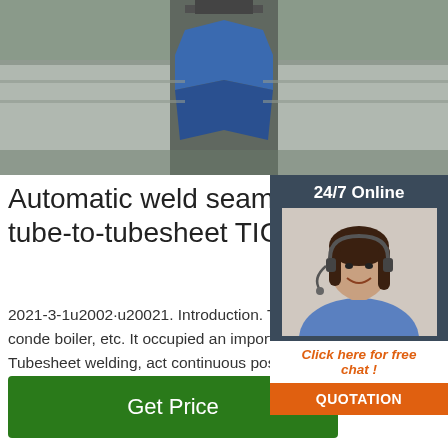[Figure (photo): Industrial welding machinery — tube-to-tubesheet welding equipment viewed from above, showing blue guide components on metal track]
Automatic weld seam track tube-to-tubesheet TIG ...
2021-3-1u2002·u20021. Introduction. Tu tubesheet welding was widely used in manufacturing of heat exchanger, conde boiler, etc. It occupied an important posit various industries, such as petrochemica and turbine, etc. Tubesheet welding, act continuous positioning the tubes [], has been developed for many years.However, Jin et al. [] pointed that there were still several problems ...
[Figure (photo): Customer service agent: woman with headset smiling, overlay panel with 24/7 Online label, Click here for free chat!, and QUOTATION button]
Get Price